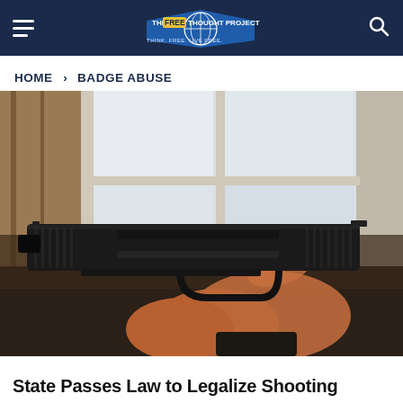The Free Thought Project
HOME > BADGE ABUSE
[Figure (photo): Close-up photograph of a hand gripping a black semi-automatic pistol, held up near a window with white frames and a snowy background visible outside.]
State Passes Law to Legalize Shooting